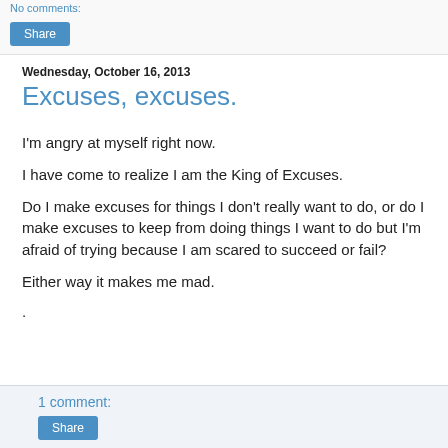No comments:
Share
Wednesday, October 16, 2013
Excuses, excuses.
I'm angry at myself right now.
I have come to realize I am the King of Excuses.
Do I make excuses for things I don't really want to do, or do I make excuses to keep from doing things I want to do but I'm afraid of trying because I am scared to succeed or fail?
Either way it makes me mad.
.
1 comment:
Share